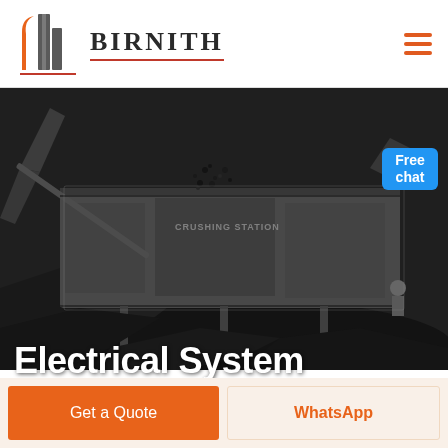[Figure (logo): Birnith company logo with orange building/arch icon and company name in serif font with red underline]
[Figure (photo): Industrial crushing station / milling machine at work, dark machinery with coal/rock material, workers visible]
Electrical System Milling Machine
Free chat
Get a Quote
WhatsApp